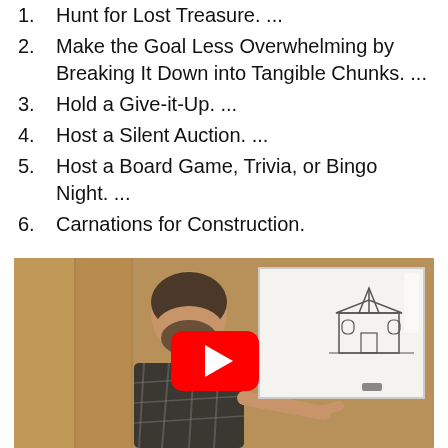1. Hunt for Lost Treasure. ...
2. Make the Goal Less Overwhelming by Breaking It Down into Tangible Chunks. ...
3. Hold a Give-it-Up. ...
4. Host a Silent Auction. ...
5. Host a Board Game, Trivia, or Bingo Night. ...
6. Carnations for Construction.
[Figure (screenshot): YouTube video thumbnail showing a bearded man in a plaid shirt gesturing toward a whiteboard with a drawing of a church, with a YouTube play button overlay. Background is wood-paneled wall.]